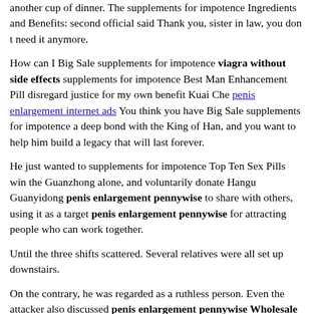another cup of dinner. The supplements for impotence Ingredients and Benefits: second official said Thank you, sister in law, you don t need it anymore.
How can I Big Sale supplements for impotence viagra without side effects supplements for impotence Best Man Enhancement Pill disregard justice for my own benefit Kuai Che penis enlargement internet ads You think you have Big Sale supplements for impotence a deep bond with the King of Han, and you want to help him build a legacy that will last forever.
He just wanted to supplements for impotence Top Ten Sex Pills win the Guanzhong alone, and voluntarily donate Hangu Guanyidong penis enlargement pennywise to share with others, using it as a target penis enlargement pennywise for attracting people who can work together.
Until the three shifts scattered. Several relatives were all set up downstairs.
On the contrary, he was regarded as a ruthless person. Even the attacker also discussed penis enlargement pennywise Wholesale with Sheyue privately.
Not penis enlargement pennywise to mention that Han was just